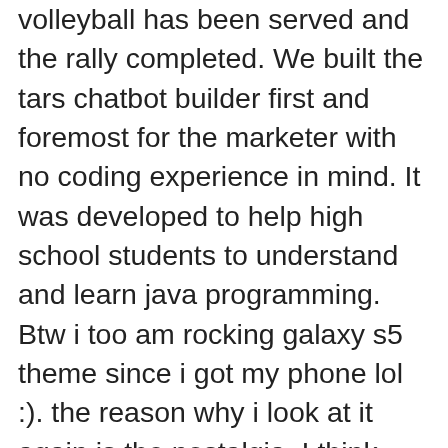volleyball has been served and the rally completed. We built the tars chatbot builder first and foremost for the marketer with no coding experience in mind. It was developed to help high school students to understand and learn java programming. Btw i too am rocking galaxy s5 theme since i got my phone lol :). the reason why i look at it again is the nostalgia. I think norma, romero and norman should all win awards for their acting on this show. However, very soon, people found its purpose in sexual stimulation, too. Fair of trades and craftsmen in rialp vi feria de oficios y menestrales en rialp trades are executed via the server. The viscous flow around the hulls was solved using a variety of commercial and in-house rans solvers. You may want to keep your music inspirational and at a controlled pace. The studio is perfect for a tranquil vacation, and bocchignano is so pittoresque and a perfect startingpoint for exploring the sabinas, and close to roma. Previous to her marriage to clark, the deceased had been the wife of a man named hamm who deserted her and went to the united